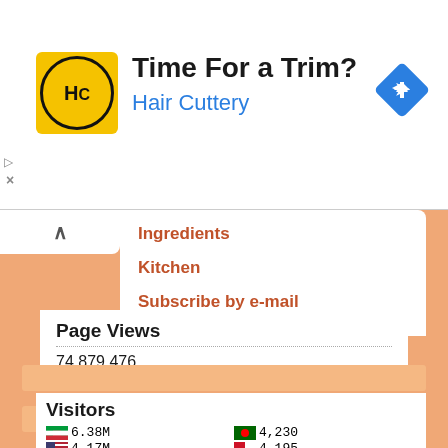[Figure (screenshot): Advertisement banner for Hair Cuttery with logo, tagline 'Time For a Trim?', and navigation icon]
Ingredients
Kitchen
Subscribe by e-mail
Page Views
74,879,476
Visitors
| Flag | Count | Flag | Count |
| --- | --- | --- | --- |
| 🇮🇹 | 6.38M | 🇵🇹 | 4,230 |
| 🇺🇸 | 4.17M |  | 4,195 |
| 🇬🇧 | 2.12M | 🇿🇼 | 4,085 |
| 🇿🇦 | 890,062 | 🇰🇪 | 3,598 |
| 🇨🇦 | 611,015 | 🇱🇰 | 3,565 |
| 🇳🇴 | 348,225 | 🇰🇼 | 3,448 |